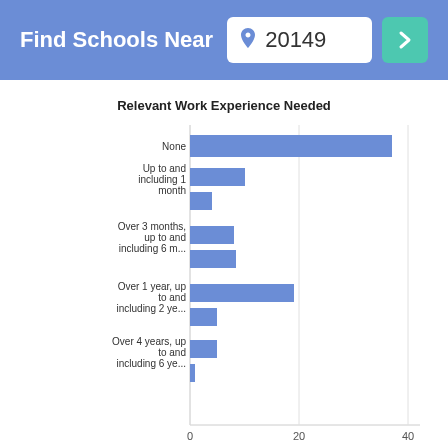Find Schools Near 20149
[Figure (bar-chart): Relevant Work Experience Needed]